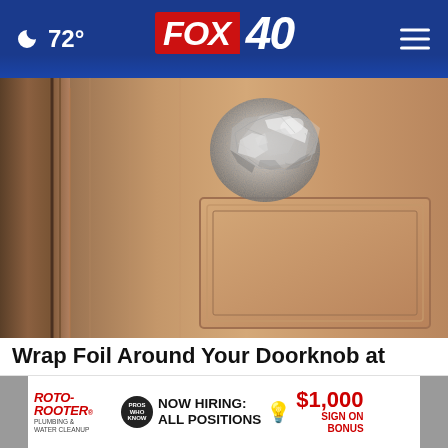72° FOX 40
[Figure (photo): Close-up photo of a wooden door with a crumpled ball of aluminum foil wrapped around the doorknob area, against a tan/beige wood-grain door background.]
Wrap Foil Around Your Doorknob at Night if Alone, Here's Why
Sogoodly
[Figure (screenshot): Advertisement banner for Roto-Rooter Plumbing & Water Cleanup: NOW HIRING: ALL POSITIONS, $1,000 SIGN ON BONUS]